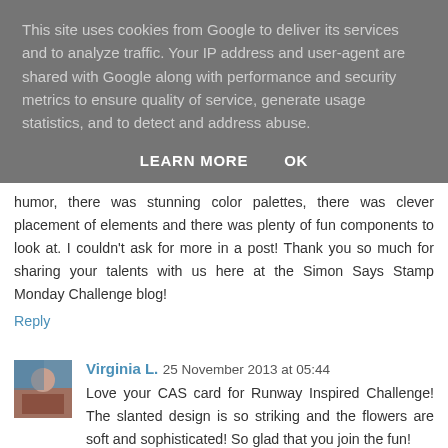This site uses cookies from Google to deliver its services and to analyze traffic. Your IP address and user-agent are shared with Google along with performance and security metrics to ensure quality of service, generate usage statistics, and to detect and address abuse.
LEARN MORE    OK
humor, there was stunning color palettes, there was clever placement of elements and there was plenty of fun components to look at. I couldn't ask for more in a post! Thank you so much for sharing your talents with us here at the Simon Says Stamp Monday Challenge blog!
Reply
Virginia L.  25 November 2013 at 05:44
Love your CAS card for Runway Inspired Challenge! The slanted design is so striking and the flowers are soft and sophisticated! So glad that you join the fun!
Reply